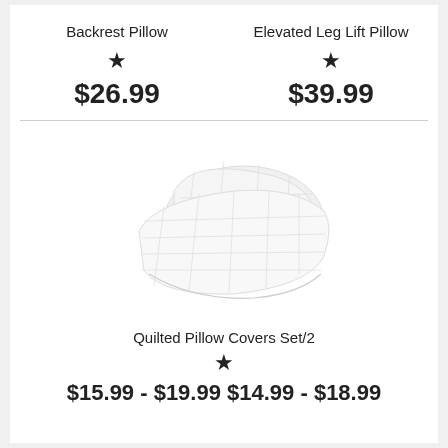Backrest Pillow
★
$26.99
Elevated Leg Lift Pillow
★
$39.99
[Figure (photo): White quilted pillow covers stacked, showing two pillows with quilted pattern on a white background.]
Quilted Pillow Covers Set/2
★
$15.99 - $19.99 $14.99 - $18.99